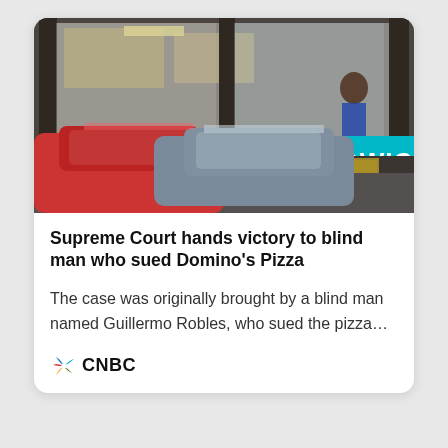[Figure (photo): Exterior of a fast food or sandwich shop with cars parked in foreground. A red car and a grey/blue car are visible. A teal sign reading 'SANDWI[CH]' is visible on the right side of the building.]
Supreme Court hands victory to blind man who sued Domino's Pizza
The case was originally brought by a blind man named Guillermo Robles, who sued the pizza...
[Figure (logo): CNBC logo with peacock icon]